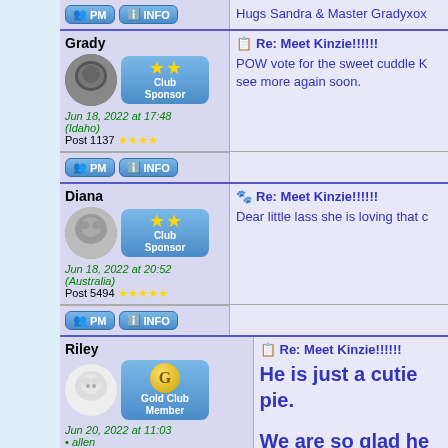Hugs Sandra & Master Gradyxox
Re: Meet Kinzie!!!!!!
Grady
Club Sponsor
Jun 18, 2022 at 17:48
(Idaho)
Post 1137 ★★★★
POW vote for the sweet cuddle K see more again soon.
Re: Meet Kinzie!!!!!!
Diana
Club Sponsor
Jun 18, 2022 at 20:52
(Australia)
Post 5494 ★★★★★
Dear little lass she is loving that c
Re: Meet Kinzie!!!!!!
Riley
Gold Club Member
Jun 20, 2022 at 11:03
• allen
He is just a cutie pie.
We are so glad he foun